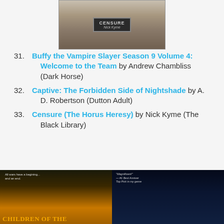[Figure (photo): Book cover image at top - dark fantasy/sci-fi cover by Nick Kyme with bird/creature silhouette]
31. Buffy the Vampire Slayer Season 9 Volume 4: Welcome to the Team by Andrew Chambliss (Dark Horse)
32. Captive: The Forbidden Side of Nightshade by A. D. Robertson (Dutton Adult)
33. Censure (The Horus Heresy) by Nick Kyme (The Black Library)
[Figure (photo): Bottom left: book cover 'Children of the...' with cityscape and person silhouette, orange tones]
[Figure (photo): Bottom right: book cover with young woman and dark fantasy castle, blue/dark tones, quote 'Magnificent!' #1 Best Anniver Top Pick in my genre]